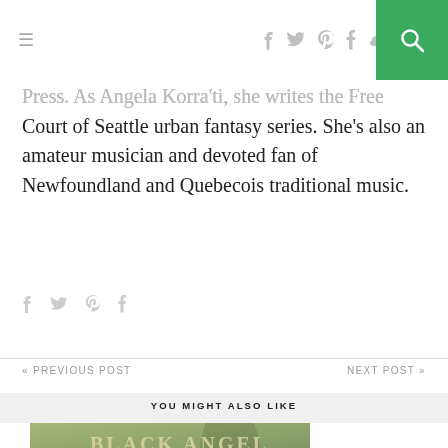≡  [social icons] [search]
Press. As Angela Korra'ti, she writes the Free Court of Seattle urban fantasy series. She's also an amateur musician and devoted fan of Newfoundland and Quebecois traditional music.
YOU MIGHT ALSO LIKE
[Figure (photo): Book cover partially visible showing 'Black Angel' title with a figure and green/teal misty background, hand reaching up.]